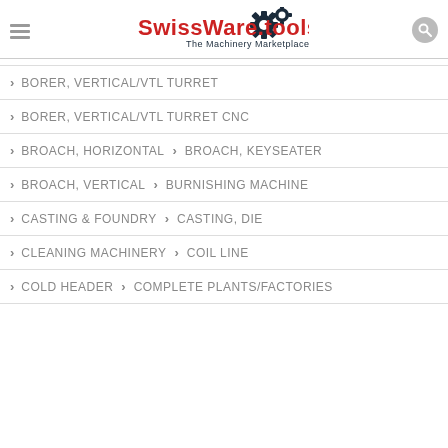SwissWare.tools — The Machinery Marketplace
> BORER, VERTICAL/VTL TURRET
> BORER, VERTICAL/VTL TURRET CNC
> BROACH, HORIZONTAL > BROACH, KEYSEATER
> BROACH, VERTICAL > BURNISHING MACHINE
> CASTING & FOUNDRY > CASTING, DIE
> CLEANING MACHINERY > COIL LINE
> COLD HEADER > COMPLETE PLANTS/FACTORIES